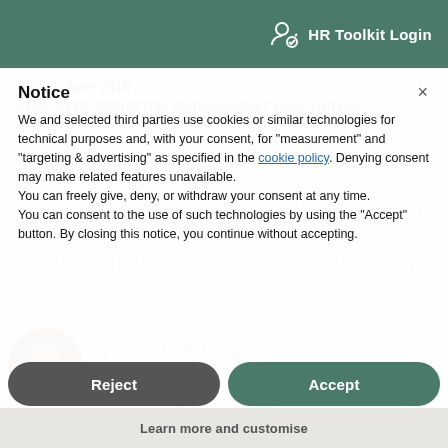HR Toolkit Login
6th June 2015
EMPLOYEE BENEFITS, EMPLOYMENT LAW, HUMAN RESOURCES
Notice
We and selected third parties use cookies or similar technologies for technical purposes and, with your consent, for “measurement” and “targeting & advertising” as specified in the cookie policy. Denying consent may make related features unavailable.
You can freely give, deny, or withdraw your consent at any time.
You can consent to the use of such technologies by using the “Accept” button. By closing this notice, you continue without accepting.
by Carole Burman, FCIPD MOD
Managing Director
4 min read
Is your employee’s vehicle shameful?
Reject
Accept
Learn more and customise